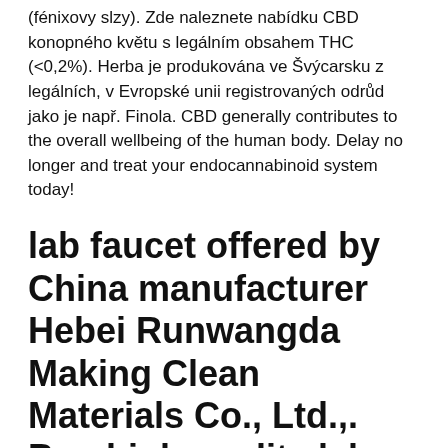(fénixovy slzy). Zde naleznete nabídku CBD konopného květu s legálním obsahem THC (<0,2%). Herba je produkována ve Švýcarsku z legálních, v Evropské unii registrovaných odrůd jako je např. Finola. CBD generally contributes to the overall wellbeing of the human body. Delay no longer and treat your endocannabinoid system today!
lab faucet offered by China manufacturer Hebei Runwangda Making Clean Materials Co., Ltd.,. Buy high quality lab faucet right now!
CBD Deals: 50 to 90% off deals on Groupon Goods. Holiday Fun Edition CBD Gummies from Mycbd (3000MG). CBD Gummies from Happy Hemp. Ostatní - Cbd bazar. Vybírejte z 26 inzerátů. Prodejte snadno a rychle na Bazoši. Přes půl milionů uživatelů za den. Najděte co potřebujete ve Vaší